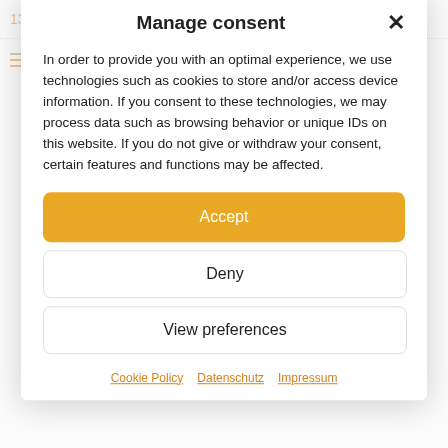13 reasons to visit Namibia
Outdoor Coaching: How to use the power of nature to strengthen your team spirit
Manage consent
In order to provide you with an optimal experience, we use technologies such as cookies to store and/or access device information. If you consent to these technologies, we may process data such as browsing behavior or unique IDs on this website. If you do not give or withdraw your consent, certain features and functions may be affected.
Accept
Deny
View preferences
Cookie Policy   Datenschutz   Impressum